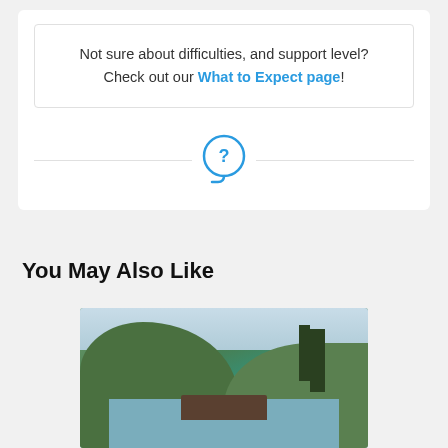Not sure about difficulties, and support level? Check out our What to Expect page!
[Figure (other): Speech bubble icon with a question mark inside, rendered in blue outline style, centered over a horizontal divider line]
You May Also Like
[Figure (photo): Outdoor scenic photo showing green forested hills, a river or lake, and a small boat or ferry dock structure with people. Trees visible on the right side.]